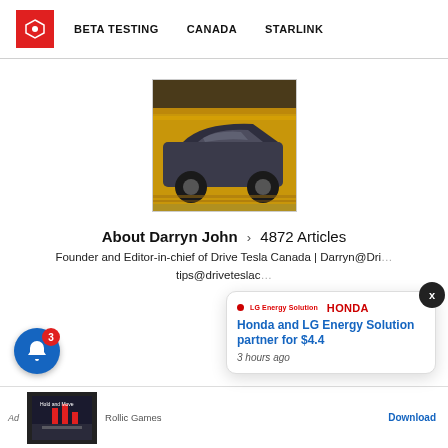BETA TESTING   CANADA   STARLINK
[Figure (photo): A dark blue/grey Tesla Model 3 driving at speed through a tunnel with yellow/orange walls, motion blur visible]
About Darryn John > 4872 Articles
Founder and Editor-in-chief of Drive Tesla Canada | Darryn@Dri... tips@driveteslac...
[Figure (screenshot): Honda and LG Energy Solution partnership notification popup showing logos and headline 'Honda and LG Energy Solution partner for $4.4' from 3 hours ago]
[Figure (screenshot): Mobile ad banner at bottom: Rollic Games app ad with Download button, showing a driving game screenshot]